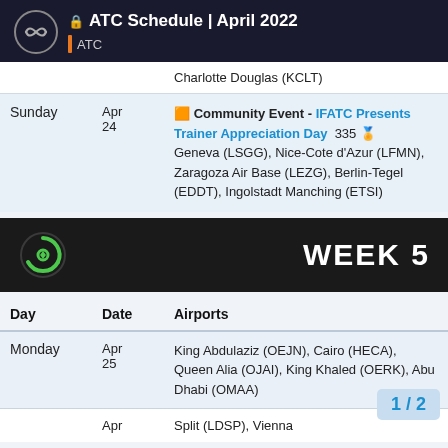ATC Schedule | April 2022 — ATC
| Day | Date | Airports |
| --- | --- | --- |
|  |  | Charlotte Douglas (KCLT) |
| Sunday | Apr 24 | 🟧 Community Event - IFATC Presents Trainer Appreciation Day  335 🏅
Geneva (LSGG), Nice-Cote d'Azur (LFMN), Zaragoza Air Base (LEZG), Berlin-Tegel (EDDT), Ingolstadt Manching (ETSI) |
[Figure (infographic): WEEK 5 banner with green circular logo on dark background]
| Day | Date | Airports |
| --- | --- | --- |
| Monday | Apr 25 | King Abdulaziz (OEJN), Cairo (HECA), Queen Alia (OJAI), King Khaled (OERK), Abu Dhabi (OMAA) |
|  | Apr | Split (LDSP), Vienna... |
1 / 2